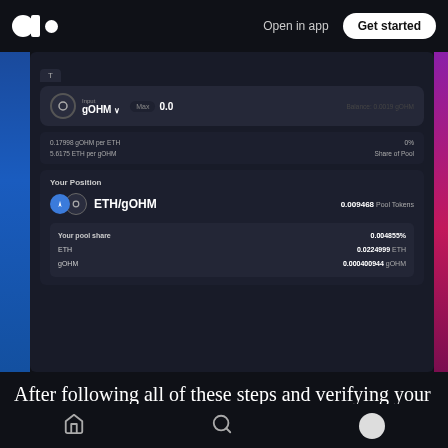Open in app  Get started
[Figure (screenshot): Screenshot of a decentralized exchange liquidity interface showing gOHM input, exchange rates (0.17998 gOHM per ETH, 5.6175 ETH per gOHM), Your Position section showing ETH/gOHM pair with 0.009468 Pool Tokens, pool share 0.004855%, ETH 0.0224999 ETH, gOHM 0.000400944 gOHM]
After following all of these steps and verifying your liquidity position, make sure to generate the
...most yield out of your investment by staking...